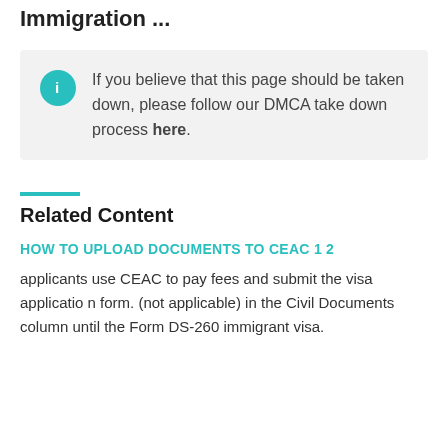Immigration ...
If you believe that this page should be taken down, please follow our DMCA take down process here.
Related Content
HOW TO UPLOAD DOCUMENTS TO CEAC 1 2
applicants use CEAC to pay fees and submit the visa application form. (not applicable) in the Civil Documents column until the Form DS-260 immigrant visa.